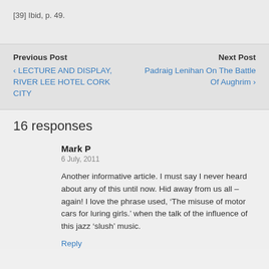[39] Ibid, p. 49.
Previous Post
‹ LECTURE AND DISPLAY, RIVER LEE HOTEL CORK CITY
Next Post
Padraig Lenihan On The Battle Of Aughrim ›
16 responses
Mark P
6 July, 2011
Another informative article. I must say I never heard about any of this until now. Hid away from us all – again! I love the phrase used, 'The misuse of motor cars for luring girls.' when the talk of the influence of this jazz 'slush' music.
Reply